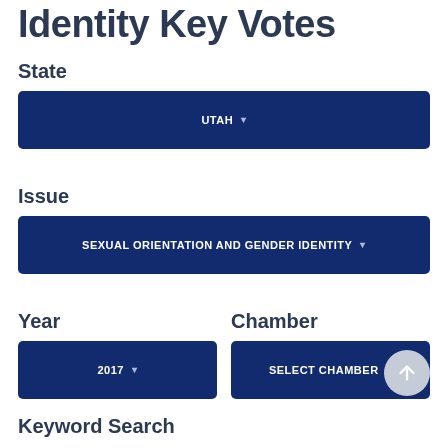Identity Key Votes
State
UTAH ▾
Issue
SEXUAL ORIENTATION AND GENDER IDENTITY ▾
Year
2017 ▾
Chamber
SELECT CHAMBER ▾
Keyword Search